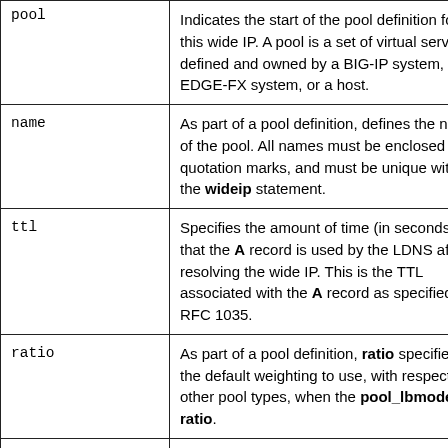| Keyword | Description |
| --- | --- |
| pool | Indicates the start of the pool definition for this wide IP. A pool is a set of virtual servers defined and owned by a BIG-IP system, an EDGE-FX system, or a host. |
| name | As part of a pool definition, defines the name of the pool. All names must be enclosed in quotation marks, and must be unique within the wideip statement. |
| ttl | Specifies the amount of time (in seconds) that the A record is used by the LDNS after resolving the wide IP. This is the TTL associated with the A record as specified by RFC 1035. |
| ratio | As part of a pool definition, ratio specifies the default weighting to use, with respect to other pool types, when the pool_lbmode is ratio. |
| last_resort | Specifies whether the 3-DNS Controller directs LDNS requests to this pool when |